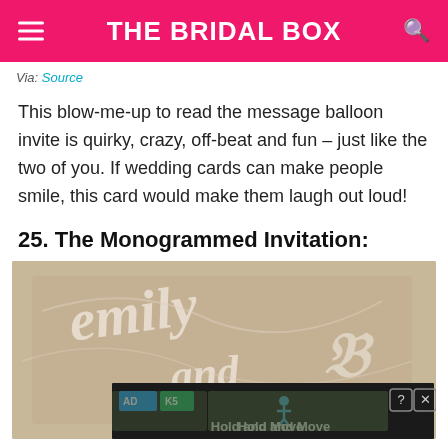THE BRIDAL BOX
Via: Source
This blow-me-up to read the message balloon invite is quirky, crazy, off-beat and fun – just like the two of you. If wedding cards can make people smile, this card would make them laugh out loud!
25. The Monogrammed Invitation:
[Figure (photo): A monogrammed wedding invitation card with laser-cut script letters showing names 'emily and' on a kraft/tan card surface, with white raised lettering. An advertisement overlay is visible at the bottom with 'Hold and Move' text.]